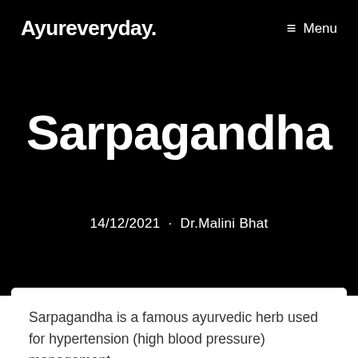Ayureveryday.    ☰ Menu
Sarpagandha
14/12/2021 · Dr.Malini Bhat
Sarpagandha is a famous ayurvedic herb used for hypertension (high blood pressure) management.